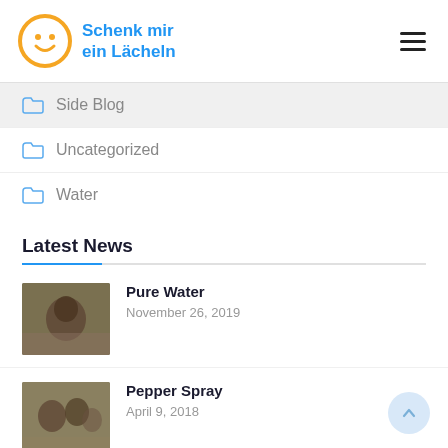Schenk mir ein Lächeln
Side Blog
Uncategorized
Water
Latest News
Pure Water
November 26, 2019
Pepper Spray
April 9, 2018